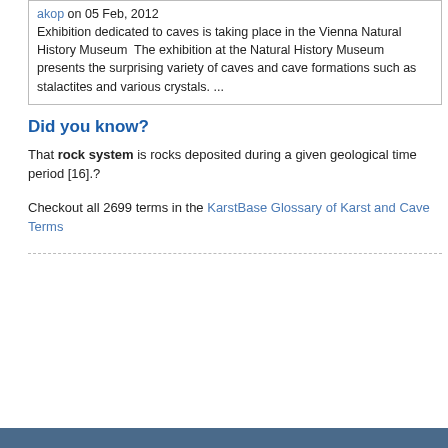akop on 05 Feb, 2012
Exhibition dedicated to caves is taking place in the Vienna Natural History Museum The exhibition at the Natural History Museum presents the surprising variety of caves and cave formations such as stalactites and various crystals. ...
Did you know?
That rock system is rocks deposited during a given geological time period [16].?
Checkout all 2699 terms in the KarstBase Glossary of Karst and Cave Terms
associated with these events have led to now being exposed or covered by the processes with potential instability fo distribution of materials. The continuing ev Quaternary by a long period of geological systems, growing coastlines and mounta their own suites of rock and soil of signi extract was created in the absence of an a
Deprecated: Function get_magic_quotes_gpc() /home/isthin5/public_html/addon-domains/s line 943
Keywords: area, areas, causes, climate, coast, earthquake, engineering geology, error, errors, e geology, in-situ, its, landscape, level, migration, tectonics, profile, profiles, quaternary, regime, ri sediment, series, shelf, slope, soil, soils, southe weathering, weathering profile,
Deprecated: Function get_magic_quotes_g /home/isthin5/public_html/addon-domains/speleogenesis.info/include/func
Deprecated: Function get_magic_quotes_ /home/isthin5/public_html/addon-domains/speleogenesis.info/include/fu
TOP | Home | Aims and s